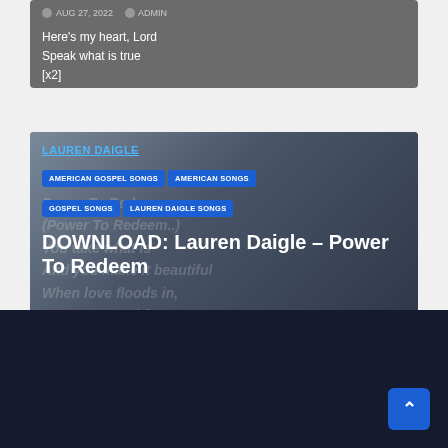[Figure (screenshot): Partial blog card with gray background showing lyrics: Here's my heart, Lord / Speak what is true / [x2], with clock icon, AUG 27, 2022, user icon, ADMIN]
LAUREN DAIGLE
AMERICAN GOSPEL SONGS
AMERICAN SONGS
GOSPEL SONGS
LAUREN DAIGLE SONGS
DOWNLOAD: Lauren Daigle – Power To Redeem
AUG 27, 2022  ADMIN